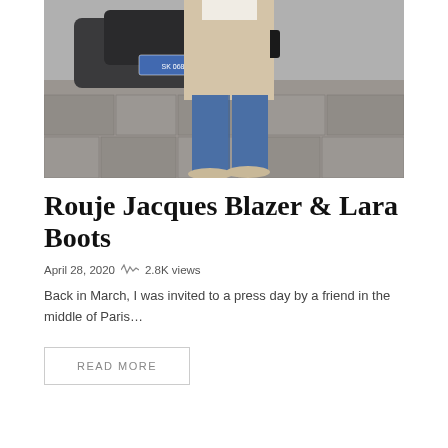[Figure (photo): Street style photo showing lower body of a person wearing a beige blazer, blue straight-leg jeans, and beige flat shoes/boots, standing on Paris stone pavement with a dark car in the background]
Rouje Jacques Blazer & Lara Boots
April 28, 2020   2.8K views
Back in March, I was invited to a press day by a friend in the middle of Paris…
READ MORE